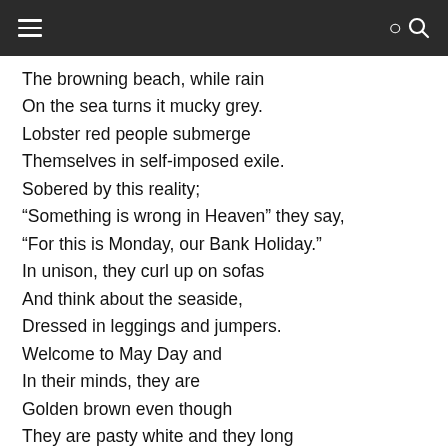The browning beach, while rain
On the sea turns it mucky grey.
Lobster red people submerge
Themselves in self-imposed exile.
Sobered by this reality;
“Something is wrong in Heaven” they say,
“For this is Monday, our Bank Holiday.”
In unison, they curl up on sofas
And think about the seaside,
Dressed in leggings and jumpers.
Welcome to May Day and
In their minds, they are
Golden brown even though
They are pasty white and they long
For a sunny tomorrow but now